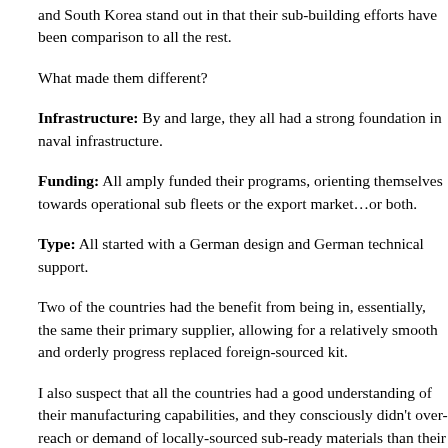and South Korea stand out in that their sub-building efforts have been comparison to all the rest.
What made them different?
Infrastructure: By and large, they all had a strong foundation in naval infrastructure.
Funding: All amply funded their programs, orienting themselves towards operational sub fleets or the export market…or both.
Type: All started with a German design and German technical support.
Two of the countries had the benefit from being in, essentially, the same their primary supplier, allowing for a relatively smooth and orderly progress replaced foreign-sourced kit.
I also suspect that all the countries had a good understanding of their manufacturing capabilities, and they consciously didn't over-reach or demand of locally-sourced sub-ready materials than their economies could reach.